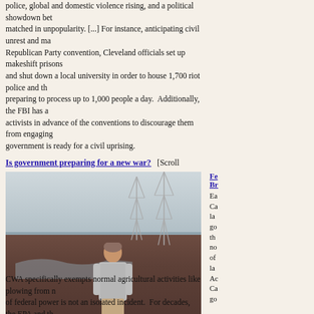police, global and domestic violence rising, and a political showdown between two candidates matched in unpopularity. [...] For instance, anticipating civil unrest and mayhem during the Republican Party convention, Cleveland officials set up makeshift prisons and shut down a local university in order to house 1,700 riot police and thousands more preparing to process up to 1,000 people a day. Additionally, the FBI has approached activists in advance of the conventions to discourage them from engaging. government is ready for a civil uprising.
Is government preparing for a new war?
[Scroll down] Perhaps it's p... it with a grain of salt. However, I have gained information on this matter f... question. This is about rather small military vehicles, apparently a bit sma... containing armor on the sides. According to reports, a rather long train ca... was observed in the West.
[Figure (photo): A man in a plaid shirt stands in a flat, open field with power transmission towers visible in the background under an overcast sky.]
Fe... Br... Ea... Ca... la... go... th... no... of... la... Ac... Ca... go...
CWA specifically exempts normal agricultural activities like plowing from n... of federal power is not an isolated incident. For decades, the EPA and th... to stretch the bounds of the CWA. When Congress passed the CWA...